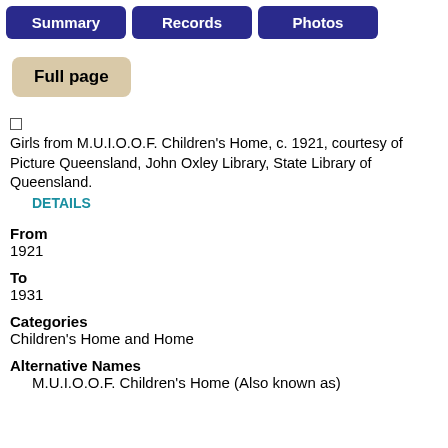[Figure (screenshot): Navigation buttons: Summary, Records, Photos (dark blue) and Full page (tan/beige)]
Girls from M.U.I.O.O.F. Children's Home, c. 1921, courtesy of Picture Queensland, John Oxley Library, State Library of Queensland.
DETAILS
From
1921
To
1931
Categories
Children's Home and Home
Alternative Names
M.U.I.O.O.F. Children's Home (Also known as)